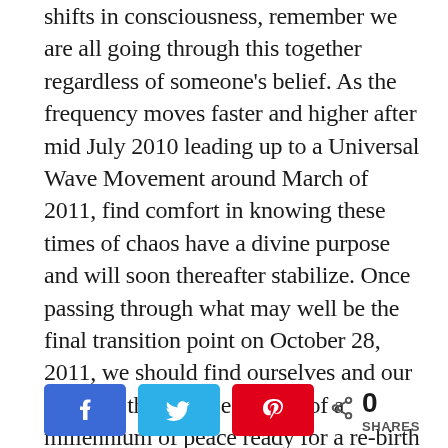shifts in consciousness, remember we are all going through this together regardless of someone's belief. As the frequency moves faster and higher after mid July 2010 leading up to a Universal Wave Movement around March of 2011, find comfort in knowing these times of chaos have a divine purpose and will soon thereafter stabilize. Once passing through what may well be the final transition point on October 28, 2011, we should find ourselves and our world at the very beginning of a millennium of peace ready for a re-birth celebration on December 21, 2012.
[Figure (other): Social share bar with Facebook, Twitter, Pinterest buttons and a share count of 0 SHARES]